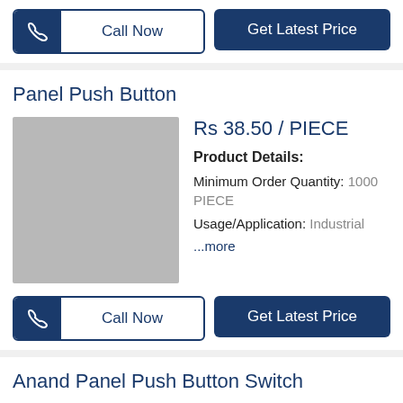[Figure (other): Call Now button with phone icon and Get Latest Price button]
Panel Push Button
[Figure (photo): Gray placeholder image for Panel Push Button product]
Rs 38.50 / PIECE
Product Details:
Minimum Order Quantity: 1000 PIECE
Usage/Application: Industrial
...more
[Figure (other): Call Now button with phone icon and Get Latest Price button]
Anand Panel Push Button Switch